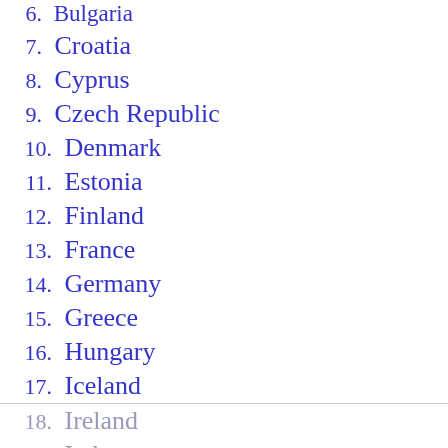6. Bulgaria
7. Croatia
8. Cyprus
9. Czech Republic
10. Denmark
11. Estonia
12. Finland
13. France
14. Germany
15. Greece
16. Hungary
17. Iceland
18. Ireland
19. Italy